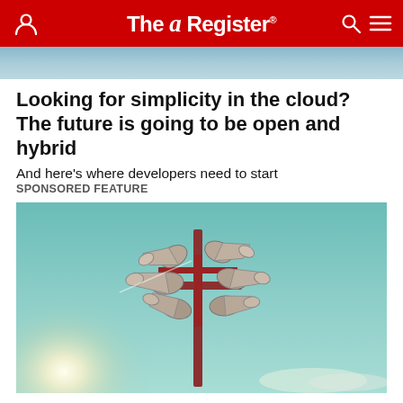The Register
[Figure (photo): Partial sky/cloud photo at the top of the article, cropped header image]
Looking for simplicity in the cloud? The future is going to be open and hybrid
And here’s where developers need to start
SPONSORED FEATURE
[Figure (photo): Photo of a tall red loudspeaker/public address horn array on a pole against a teal sky with sun glare behind it]
...